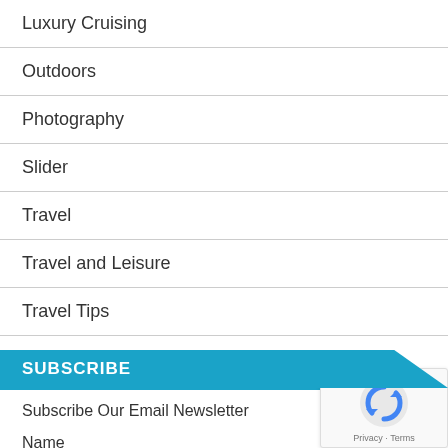Luxury Cruising
Outdoors
Photography
Slider
Travel
Travel and Leisure
Travel Tips
SUBSCRIBE
Subscribe Our Email Newsletter
Name
Email*